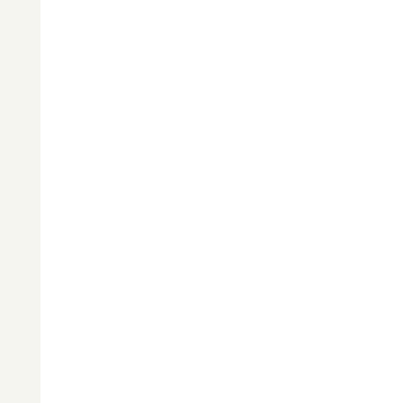“The boat is coming nearer,” c plain as can be; and they hav favour, and they will soon be o
The bushranger snatched the
which made that astonished i the glass to his eye, and direc the tide, was rapidly approach countenance as he gazed thr spoke:—
“Sir,” she said to the pilot, “I a —I am sure you do,” she repe but tell us in time, that we ma women we are afraid. We hav without fear
on this new danger—for dan